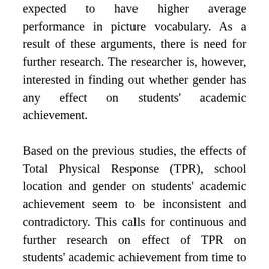expected to have higher average performance in picture vocabulary. As a result of these arguments, there is need for further research. The researcher is, however, interested in finding out whether gender has any effect on students' academic achievement.
Based on the previous studies, the effects of Total Physical Response (TPR), school location and gender on students' academic achievement seem to be inconsistent and contradictory. This calls for continuous and further research on effect of TPR on students' academic achievement from time to time and place to place. So also, effect